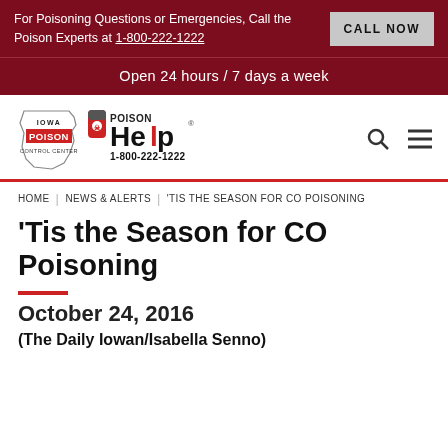For Poisoning Questions or Emergencies, Call the Poison Experts at 1-800-222-1222
CALL NOW
Open 24 hours / 7 days a week
[Figure (logo): Iowa Poison Control Center logo with state outline and Poison Help 1-800-222-1222 logo]
HOME | NEWS & ALERTS | 'TIS THE SEASON FOR CO POISONING
'Tis the Season for CO Poisoning
October 24, 2016
(The Daily Iowan/Isabella Senno)